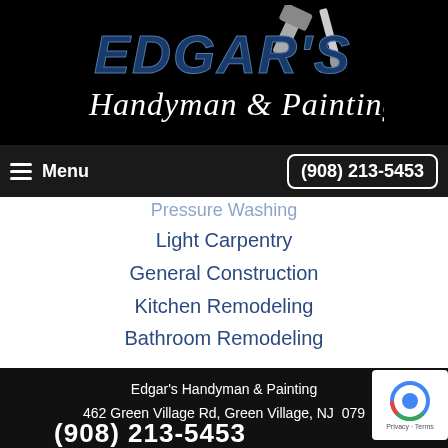[Figure (logo): Edgar's Handyman & Painting logo with hammer and paint brush icons on black background]
Menu | (908) 213-5453
Pressure Washing
Light Carpentry
General Construction
Kitchen Remodeling
Bathroom Remodeling
Edgar's Handyman & Painting
462 Green Village Rd, Green Village, NJ  079...
(908) 213-5453